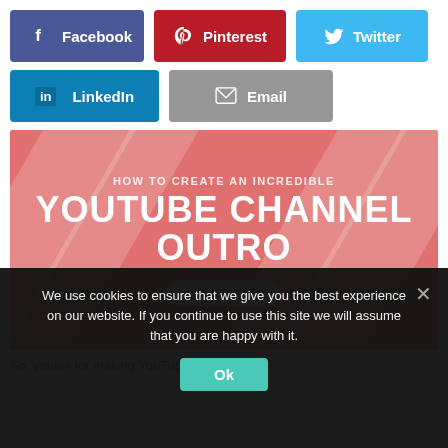[Figure (screenshot): Social share buttons: Facebook (purple), Pinterest (red), Twitter (blue), LinkedIn (teal), Email (gray)]
[Figure (infographic): Banner image with salmon/pink background, diagonal white stripes, text 'HOW TO CREATE AN INCREDIBLE YOUTUBE CHANNEL OUTRO + TEMPLATES']
We use cookies to ensure that we give you the best experience on our website. If you continue to use this site we will assume that you are happy with it.
Ok